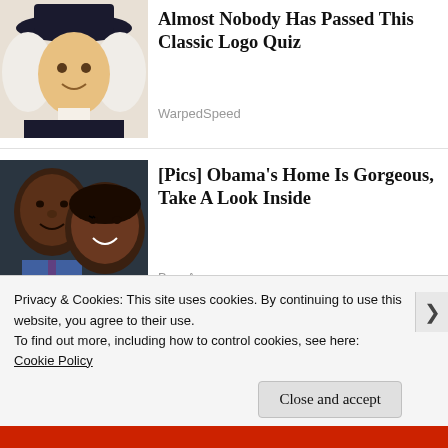[Figure (photo): Thumbnail image of a person dressed in colonial/pilgrim style with white wig and wide-brimmed black hat]
Almost Nobody Has Passed This Classic Logo Quiz
WarpedSpeed
[Figure (photo): Thumbnail photo of Barack Obama and Michelle Obama smiling together]
[Pics] Obama's Home Is Gorgeous, Take A Look Inside
BuzzAura
[Figure (photo): Partial thumbnail of people on a stage with blue lighting]
Privacy & Cookies: This site uses cookies. By continuing to use this website, you agree to their use.
To find out more, including how to control cookies, see here:
Cookie Policy
Close and accept